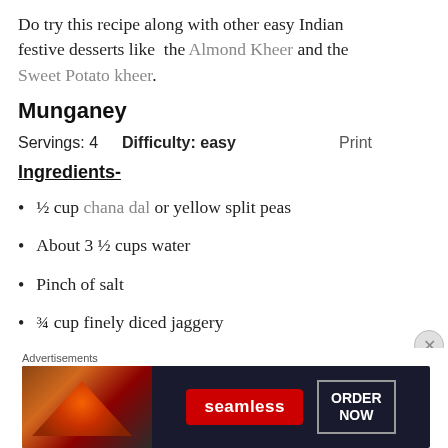Do try this recipe along with other easy Indian festive desserts like the Almond Kheer and the Sweet Potato kheer.
Munganey
Servings: 4    Difficulty: easy    Print
Ingredients-
½ cup chana dal or yellow split peas
About 3 ½ cups water
Pinch of salt
¾ cup finely diced jaggery
Advertisements
[Figure (screenshot): Seamless food delivery advertisement banner with pizza image and 'ORDER NOW' call to action]